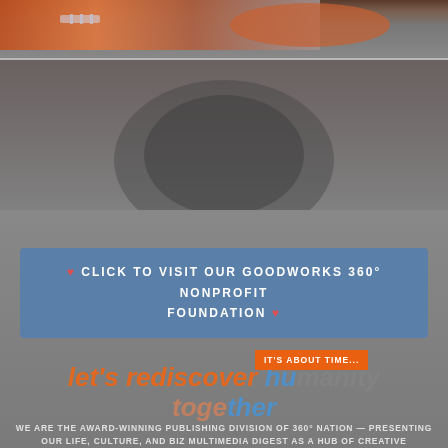[Figure (photo): Top section showing a guitar (orange/brown) against a gray gradient background, with a horizontal line separator]
♥ CLICK TO VISIT OUR GOODWORKS 360° NONPROFIT FOUNDATION ♥
[Figure (infographic): Orange badge reading IT'S ABOUT TIME... overlapping the tagline]
let's rediscover humanity together
WE ARE THE AWARD-WINNING PUBLISHING DIVISION OF 360° NATION — PRESENTING OUR LIFE, CULTURE, AND BIZ MULTIMEDIA DIGEST AS A HUB OF CREATIVE EXPRESSION AND PERSONAL GROWTH. WITH AN EMPHASIS ON ACTION, OUR VAST GLOBAL CONTRIBUTOR COMMUNITY EMPOWERS PEOPLE TO TRANSITION FROM KNOWING WHAT TO DO TO ACTUALLY DOING IT —ALL COMPLEMENTED BY